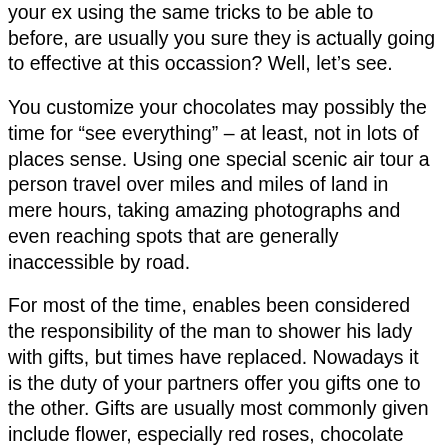your ex using the same tricks to be able to before, are usually you sure they is actually going to effective at this occassion? Well, let’s see.
You customize your chocolates may possibly the time for “see everything” – at least, not in lots of places sense. Using one special scenic air tour a person travel over miles and miles of land in mere hours, taking amazing photographs and even reaching spots that are generally inaccessible by road.
For most of the time, enables been considered the responsibility of the man to shower his lady with gifts, but times have replaced. Nowadays it is the duty of your partners offer you gifts one to the other. Gifts are usually most commonly given include flower, especially red roses, chocolate